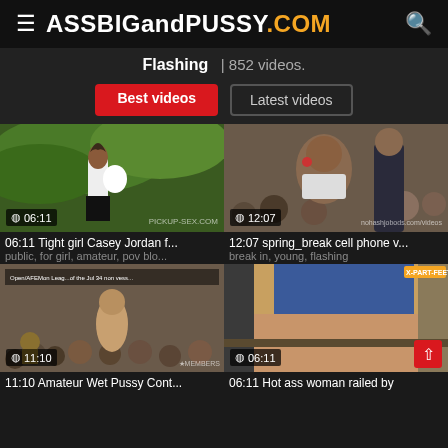ASSBIGandPUSSY.COM
Flashing | 852 videos.
Best videos | Latest videos
[Figure (screenshot): Video thumbnail: woman from behind in outdoor green setting, duration 06:11, watermark pickup-sex.com]
06:11 Tight girl Casey Jordan f...
public, for girl, amateur, pov blo...
[Figure (screenshot): Video thumbnail: woman in crowd at spring break, duration 12:07, watermark nohashjobods.com/videos]
12:07 spring_break cell phone v...
break in, young, flashing
[Figure (screenshot): Video thumbnail: crowd scene outdoors with woman on stage, duration 11:10, watermark MEMBERS]
11:10 Amateur Wet Pussy Cont...
[Figure (screenshot): Video thumbnail: close-up of woman in blue skirt from behind, duration 06:11, watermark X-PART-FEET]
06:11 Hot ass woman railed by